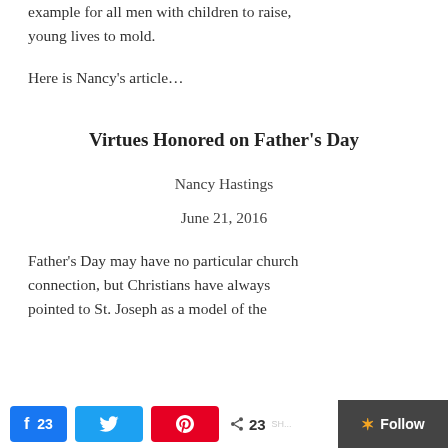example for all men with children to raise, young lives to mold.
Here is Nancy's article…
Virtues Honored on Father's Day
Nancy Hastings
June 21, 2016
Father's Day may have no particular church connection, but Christians have always pointed to St. Joseph as a model of the
23  23 SHARES  Follow